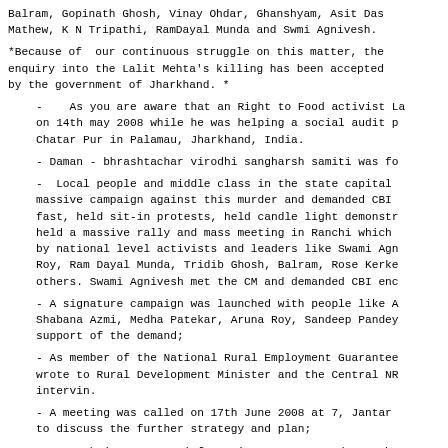Balram, Gopinath Ghosh, Vinay Ohdar, Ghanshyam, Asit Das, Mathew, K N Tripathi, RamDayal Munda and Swmi Agnivesh.
*Because of  our continuous struggle on this matter, the enquiry into the Lalit Mehta's killing has been accepted by the government of Jharkhand. *
-    As you are aware that an Right to Food activist La on 14th may 2008 while he was helping a social audit p Chatar Pur in Palamau, Jharkhand, India.
- Daman - bhrashtachar virodhi sangharsh samiti was fo
-  Local people and middle class in the state capital massive campaign against this murder and demanded CBI fast, held sit-in protests, held candle light demonstr held a massive rally and mass meeting in Ranchi which by national level activists and leaders like Swami Agn Roy, Ram Dayal Munda, Tridib Ghosh, Balram, Rose Kerke others. Swami Agnivesh met the CM and demanded CBI enc
- A signature campaign was launched with people like A Shabana Azmi, Medha Patekar, Aruna Roy, Sandeep Pandey support of the demand;
- As member of the National Rural Employment Guarantee wrote to Rural Development Minister and the Central NR intervin.
- A meeting was called on 17th June 2008 at 7, Jantar to discuss the further strategy and plan;
- On 18th june as per information Jean Dez and team he of NREGA work in a village in Giridih, jahrkhand, Dr B Jan Aandolan and others participated.